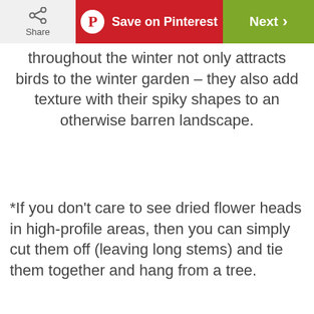Share | Save on Pinterest | Next
throughout the winter not only attracts birds to the winter garden – they also add texture with their spiky shapes to an otherwise barren landscape.
*If you don't care to see dried flower heads in high-profile areas, then you can simply cut them off (leaving long stems) and tie them together and hang from a tree.
[Figure (photo): Broken image placeholder labeled 'Perennial flowers']